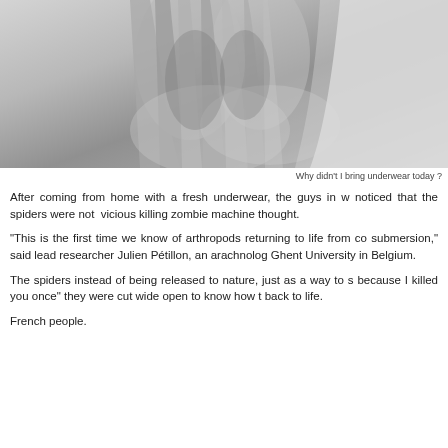[Figure (photo): Black and white close-up photo of clasped/folded hands]
Why didn't I bring underwear today ?
After coming from home with a fresh underwear, the guys in w noticed that the spiders were not vicious killing zombie machine thought.
"This is the first time we know of arthropods returning to life from co submersion," said lead researcher Julien Pétillon, an arachnolog Ghent University in Belgium.
The spiders instead of being released to nature, just as a way to s because I killed you once" they were cut wide open to know how t back to life.
French people.